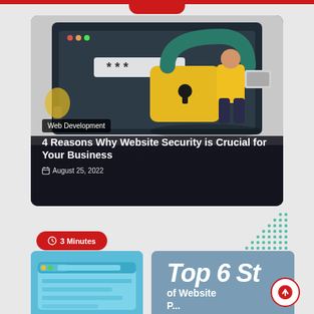[Figure (illustration): Blog article card with a security illustration showing a large padlock, a person holding a laptop, and a password input mockup on a dark background]
Web Development
4 Reasons Why Website Security is Crucial for Your Business
August 25, 2022
3 Minutes
[Figure (illustration): Partial browser window illustration in blue tones, bottom left]
Top 6 St
of Website
P...